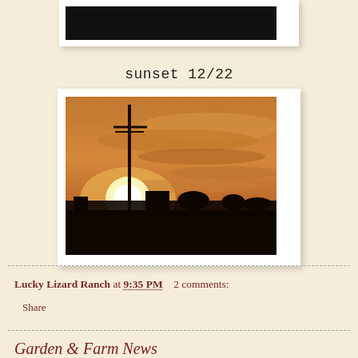[Figure (photo): Top portion of a dark/night photo, partially visible at top of page]
sunset 12/22
[Figure (photo): Sunset photo showing a silhouette of a utility pole and rural landscape against an orange-amber sky with clouds and a bright setting sun near the horizon]
Lucky Lizard Ranch at 9:35 PM    2 comments:
Share
Garden & Farm News